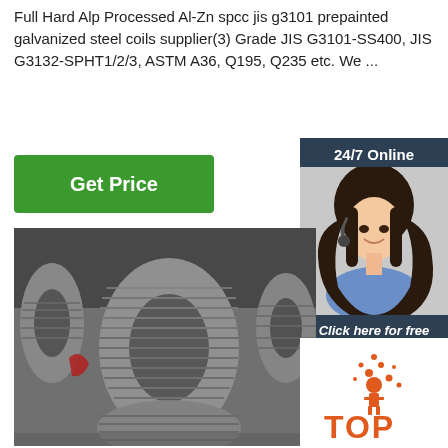Full Hard Alp Processed Al-Zn spcc jis g3101 prepainted galvanized steel coils supplier(3) Grade JIS G3101-SS400, JIS G3132-SPHT1/2/3, ASTM A36, Q195, Q235 etc. We ...
[Figure (illustration): Green 'Get Price' button]
[Figure (photo): 24/7 Online chat sidebar with woman wearing headset, 'Click here for free chat!' text, and orange QUOTATION button]
[Figure (photo): Large photo of steel wire rod coils stacked in a warehouse]
[Figure (illustration): Orange TOP icon in lower right corner]